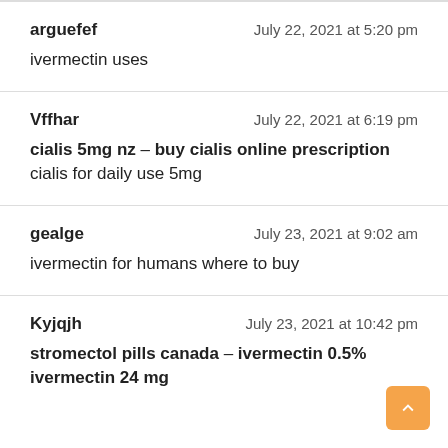arguefef — July 22, 2021 at 5:20 pm
ivermectin uses
Vffhar — July 22, 2021 at 6:19 pm
cialis 5mg nz – buy cialis online prescription cialis for daily use 5mg
gealge — July 23, 2021 at 9:02 am
ivermectin for humans where to buy
Kyjqjh — July 23, 2021 at 10:42 pm
stromectol pills canada – ivermectin 0.5% ivermectin 24 mg